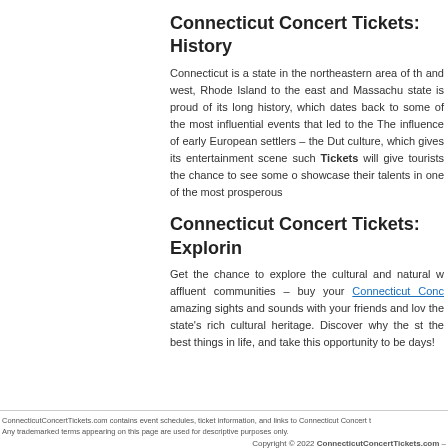Connecticut Concert Tickets: History
Connecticut is a state in the northeastern area of the and west, Rhode Island to the east and Massachu state is proud of its long history, which dates back to some of the most influential events that led to the The influence of early European settlers – the Dut culture, which gives its entertainment scene such Tickets will give tourists the chance to see some o showcase their talents in one of the most prosperous
Connecticut Concert Tickets: Explorin
Get the chance to explore the cultural and natural w affluent communities – buy your Connecticut Conc amazing sights and sounds with your friends and lov the state's rich cultural heritage. Discover why the st the best things in life, and take this opportunity to be days!
ConnecticutConcertTickets.com contains event schedules, ticket information, and links to Connecticut Concert t Any trademarked terms appearing on this page are used for descriptive purposes only. Copyright © 2022 ConnecticutConcertTickets.com –